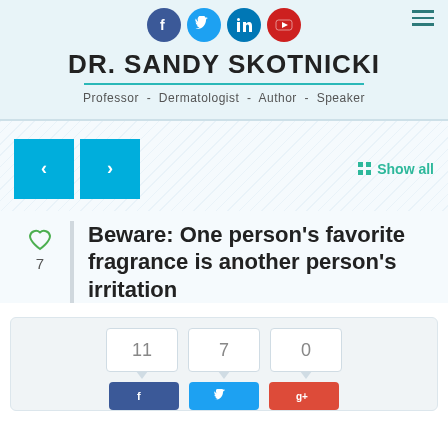DR. SANDY SKOTNICKI — Professor - Dermatologist - Author - Speaker
[Figure (infographic): Social media icons: Facebook (blue circle), Twitter (light blue circle), LinkedIn (blue circle), YouTube (red circle), and hamburger menu icon top right]
[Figure (infographic): Navigation carousel with two cyan arrow buttons (left and right) and a 'Show all' link with grid icon, on a diagonal stripe background]
Beware: One person's favorite fragrance is another person's irritation
7 (like count)
11  7  0 (share counts)